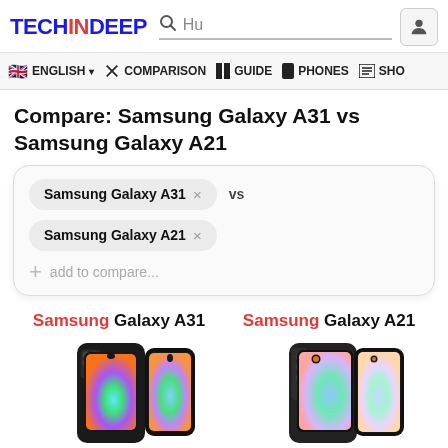TECHINDEEP — Search bar — User icon
ENGLISH | COMPARISON | GUIDE | PHONES | SHO
Compare: Samsung Galaxy A31 vs Samsung Galaxy A21
Samsung Galaxy A31 × vs Samsung Galaxy A21 × + add to compare...
Samsung Galaxy A31   Samsung Galaxy A21
[Figure (photo): Photos of Samsung Galaxy A31 (left) and Samsung Galaxy A21 (right) smartphones]